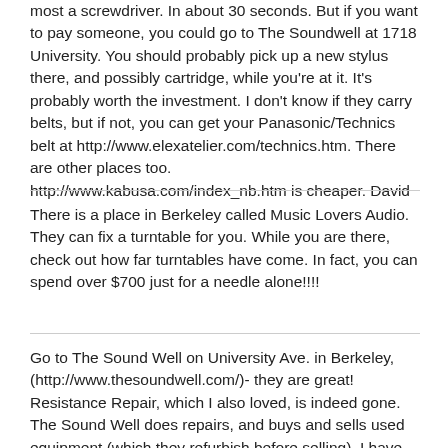most a screwdriver. In about 30 seconds. But if you want to pay someone, you could go to The Soundwell at 1718 University. You should probably pick up a new stylus there, and possibly cartridge, while you're at it. It's probably worth the investment. I don't know if they carry belts, but if not, you can get your Panasonic/Technics belt at http://www.elexatelier.com/technics.htm. There are other places too. http://www.kabusa.com/index_nb.htm is cheaper. David
There is a place in Berkeley called Music Lovers Audio. They can fix a turntable for you. While you are there, check out how far turntables have come. In fact, you can spend over $700 just for a needle alone!!!!
Go to The Sound Well on University Ave. in Berkeley, (http://www.thesoundwell.com/)- they are great! Resistance Repair, which I also loved, is indeed gone. The Sound Well does repairs, and buys and sells used equipment (which they refurbish before selling). I have bought all my stereo equipment used from them (except for my turntable that I got